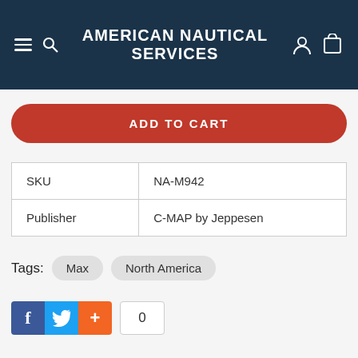AMERICAN NAUTICAL SERVICES
ADD TO CART
| SKU | NA-M942 |
| Publisher | C-MAP by Jeppesen |
Tags: Max North America
[Figure (other): Social share buttons: Facebook (f), Twitter bird icon, plus (+) button, share count showing 0]